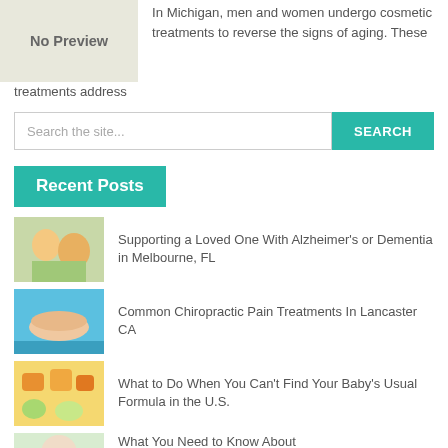[Figure (photo): No Preview placeholder box with bold text]
In Michigan, men and women undergo cosmetic treatments to reverse the signs of aging. These treatments address
Search the site...
Recent Posts
[Figure (photo): Thumbnail of caregiver with elderly person - Alzheimer's post]
Supporting a Loved One With Alzheimer's or Dementia in Melbourne, FL
[Figure (photo): Thumbnail of chiropractic massage treatment]
Common Chiropractic Pain Treatments In Lancaster CA
[Figure (photo): Thumbnail of baby food and formula]
What to Do When You Can't Find Your Baby's Usual Formula in the U.S.
[Figure (photo): Thumbnail of woman - cosmetic/skin care post]
What You Need to Know About Cosmetic Procedures with Aging Skin